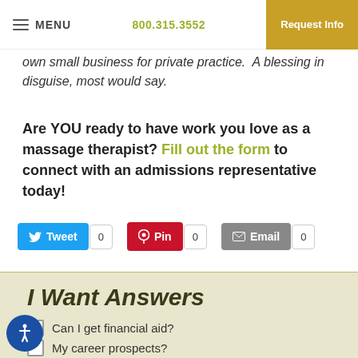MENU   800.315.3552   Request Info
own small business for private practice.  A blessing in disguise, most would say.
Are YOU ready to have work you love as a massage therapist? Fill out the form to connect with an admissions representative today!
[Figure (screenshot): Social sharing buttons: Tweet (count 0), Pin (count 0), Email (count 0)]
I Want Answers
Can I get financial aid?
My career prospects?